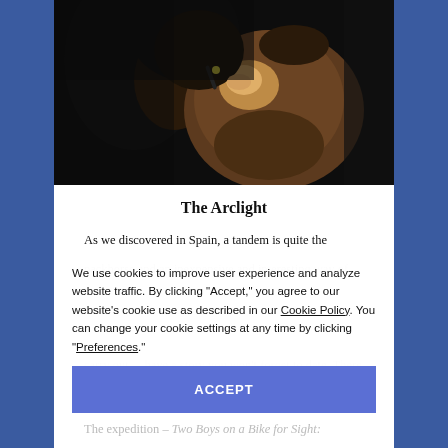[Figure (photo): Close-up photo of a medical professional examining a patient's eye using an arclight ophthalmoscope. The examiner leans close to the patient, who is an older African man. Dark clinical background.]
The Arclight
As we discovered in Spain, a tandem is quite the packhorse and an inexpensive and interesting way of ...
We use cookies to improve user experience and analyze website traffic. By clicking “Accept,” you agree to our website’s cookie use as described in our Cookie Policy. You can change your cookie settings at any time by clicking “Preferences.”
ACCEPT
carry out… have a story you won’t forget to date. There was, however, just one condition: we had to do it by tandem!
The expedition – Two Boys on a Bike for Sight: